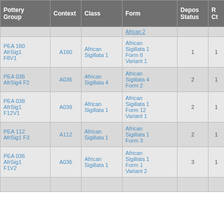| Pottery Group | Context | Class | Form | Depos Status | R Ct | R EV |
| --- | --- | --- | --- | --- | --- | --- |
|  |  |  | African 2 |  |  |  |
| PEA 180 AfrSig1 F8V1 | A180 | African Sigillata 1 | African Sigillata 1 Form 8 Variant 1 | 1 | 1 | 1 |
| PEA 036 AfrSig4 F2 | A036 | African Sigillata 4 | African Sigillata 4 Form 2 | 2 | 1 | 1 |
| PEA 038 AfrSig1 F12V1 | A038 | African Sigillata 1 | African Sigillata 1 Form 12 Variant 1 | 2 | 1 | 1 |
| PEA 112 AfrSig1 F3 | A112 | African Sigillata 1 | African Sigillata 1 Form 3 | 2 | 1 | 1 |
| PEA 036 AfrSig1 F1V2 | A036 | African Sigillata 1 | African Sigillata 1 Form 1 Variant 2 | 3 | 1 | 1 |